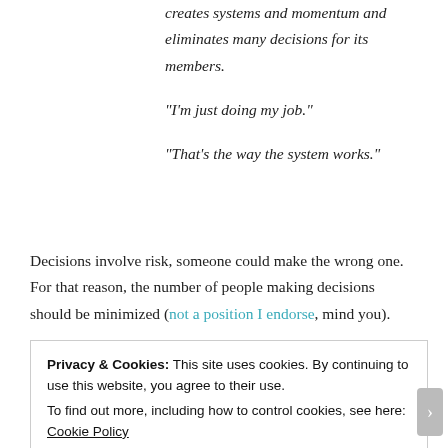creates systems and momentum and eliminates many decisions for its members.
“I’m just doing my job.”
“That’s the way the system works.”
Decisions involve risk, someone could make the wrong one. For that reason, the number of people making decisions should be minimized (not a position I endorse, mind you).
Privacy & Cookies: This site uses cookies. By continuing to use this website, you agree to their use.
To find out more, including how to control cookies, see here: Cookie Policy
Close and accept